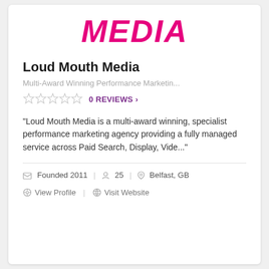[Figure (logo): MEDIA text logo in bold italic magenta/pink font]
Loud Mouth Media
Multi-Award Winning Performance Marketin...
0 REVIEWS >
"Loud Mouth Media is a multi-award winning, specialist performance marketing agency providing a fully managed service across Paid Search, Display, Vide..."
Founded 2011  |  25  |  Belfast, GB
View Profile  |  Visit Website